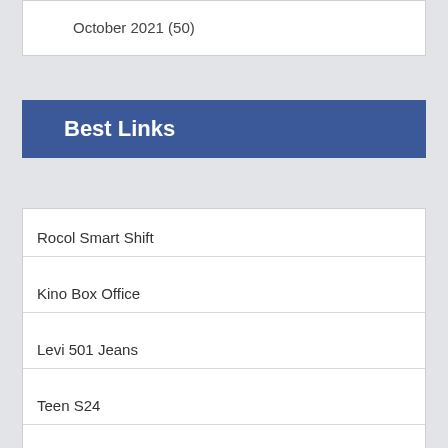October 2021 (50)
Best Links
Rocol Smart Shift
Kino Box Office
Levi 501 Jeans
Teen S24
Love Single S